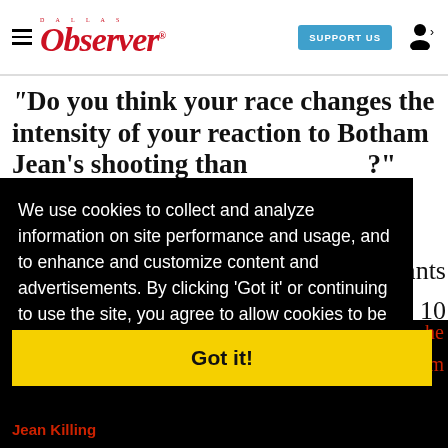Dallas Observer — SUPPORT US
“Do you think your race changes the intensity of your reaction to Botham Jean’s shooting than…?”
We use cookies to collect and analyze information on site performance and usage, and to enhance and customize content and advertisements. By clicking ‘Got it’ or continuing to use the site, you agree to allow cookies to be placed. To find out more, visit our cookies policy and our privacy policy
[Figure (other): SafeHaven advertisement: PROTECT YOUR FAMILY WITH OUR GREEN, ALL-NATURAL MOSQUITO PROGRAM! INQUIRE NOW]
Got it!
Jean Killing